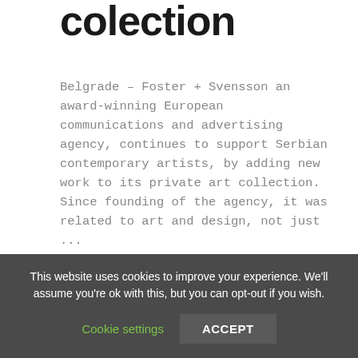colection
Belgrade – Foster + Svensson an award-winning European communications and advertising agency, continues to support Serbian contemporary artists, by adding new work to its private art collection. Since founding of the agency, it was related to art and design, not just ...
read more
[Figure (photo): Partial photo of an artwork with red and yellow angular shapes on a dark brown/red background]
This website uses cookies to improve your experience. We'll assume you're ok with this, but you can opt-out if you wish.
Cookie settings
ACCEPT